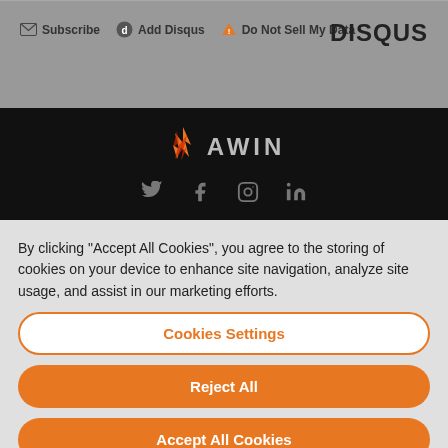Subscribe   Add Disqus   Do Not Sell My Data   DISQUS
[Figure (logo): Awin logo with flame icon and social media icons (Twitter, Facebook, Instagram, LinkedIn) on dark background]
By clicking “Accept All Cookies”, you agree to the storing of cookies on your device to enhance site navigation, analyze site usage, and assist in our marketing efforts.
Cookies Settings
Reject All
Accept All Cookies